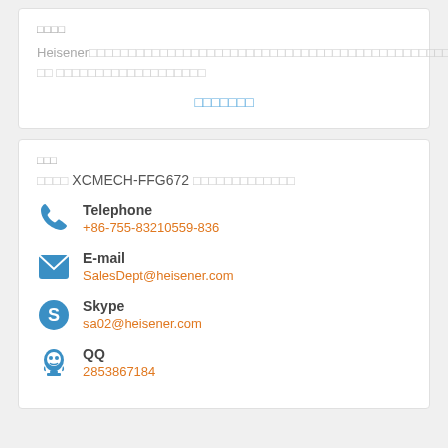□□□□
Heisener□□□□□□□□□□□□□□□□□□□□□□□□□□□□□□□□□□□□□□□□□□□□□□□□□□ □□ □□□□□□□□□□□□□□□□□□□
□□□□□□□
□□□
□□□□ XCMECH-FFG672 □□□□□□□□□□□□□
Telephone +86-755-83210559-836
E-mail SalesDept@heisener.com
Skype sa02@heisener.com
QQ 2853867184